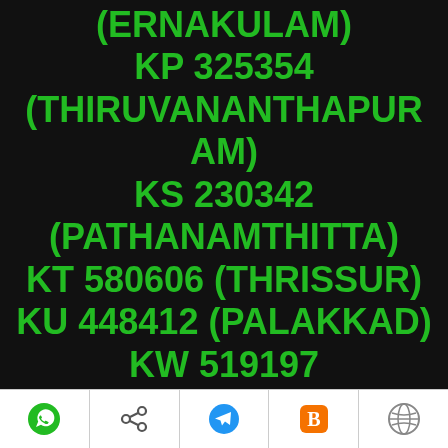(ERNAKULAM)
KP 325354
(THIRUVANANTHAPUR AM)
KS 230342
(PATHANAMTHITTA)
KT 580606 (THRISSUR)
KU 448412 (PALAKKAD)
KW 519197
WhatsApp | Share | Telegram | Blogger | WordPress